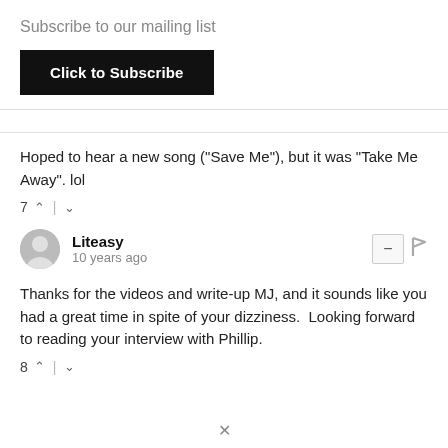Subscribe to our mailing list
Click to Subscribe
Hoped to hear a new song ("Save Me"), but it was "Take Me Away". lol
7 ^ | v
Liteasy
10 years ago
Thanks for the videos and write-up MJ, and it sounds like you had a great time in spite of your dizziness.  Looking forward to reading your interview with Phillip.
8 ^ | v